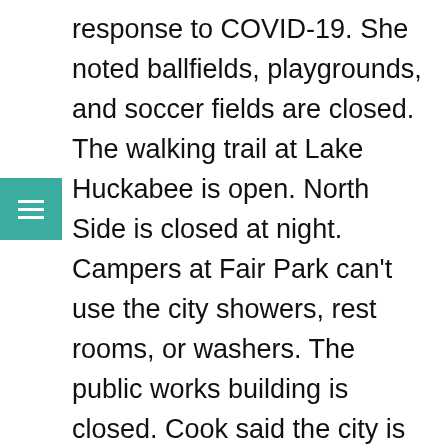response to COVID-19. She noted ballfields, playgrounds, and soccer fields are closed. The walking trail at Lake Huckabee is open. North Side is closed at night. Campers at Fair Park can't use the city showers, rest rooms, or washers. The public works building is closed. Cook said the city is taking a look at curbside pickup. The city wide cleanup for April 23rd has been postponed. Cook said some employees are telecommuting. She noted some employees are being scheduled at different times to limit contact. Cook said they may go to once a week pick up and they might ask the public to put trash out early with employees picking it up later in the day to allow any possible COVID-19 contamination to disperse. Cook said